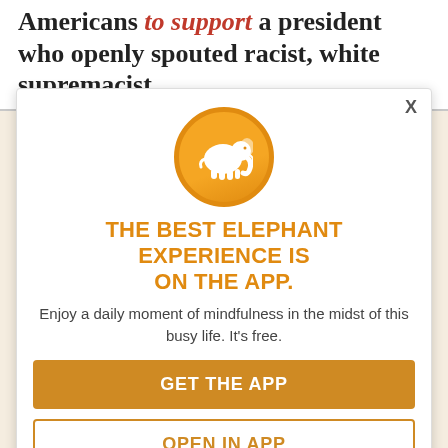Americans to support a president who openly spouted racist, white supremacist rhetoric.
[Figure (screenshot): App promotion modal overlay with orange elephant logo, title 'THE BEST ELEPHANT EXPERIENCE IS ON THE APP.', body text 'Enjoy a daily moment of mindfulness in the midst of this busy life. It’s free.', and two buttons: 'GET THE APP' and 'OPEN IN APP'. Close button 'X' in top right.]
My father passed away in 2005, but if he was alive today, he would have heeded the early warning signs that a crypto-fascist like democracy being supported by
My dad, who once discussed the psychology of prejudice on a radio show with Civil Rights icon John Robinson, explained that such adoration comes from those who fail...